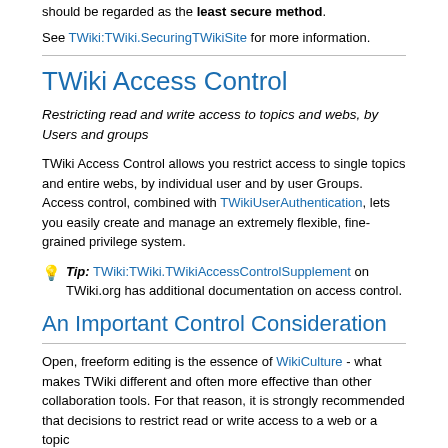should be regarded as the least secure method.
See TWiki:TWiki.SecuringTWikiSite for more information.
TWiki Access Control
Restricting read and write access to topics and webs, by Users and groups
TWiki Access Control allows you restrict access to single topics and entire webs, by individual user and by user Groups. Access control, combined with TWikiUserAuthentication, lets you easily create and manage an extremely flexible, fine-grained privilege system.
Tip: TWiki:TWiki.TWikiAccessControlSupplement on TWiki.org has additional documentation on access control.
An Important Control Consideration
Open, freeform editing is the essence of WikiCulture - what makes TWiki different and often more effective than other collaboration tools. For that reason, it is strongly recommended that decisions to restrict read or write access to a web or a topic